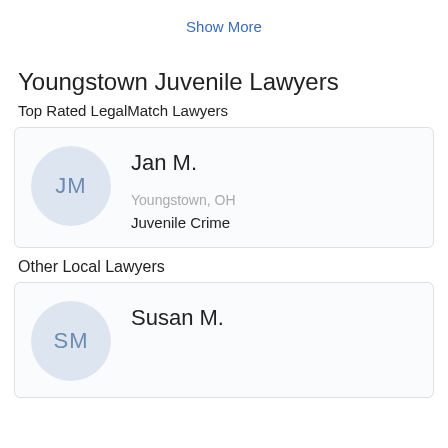Show More
Youngstown Juvenile Lawyers
Top Rated LegalMatch Lawyers
| JM | Jan M. | Youngstown, OH | Juvenile Crime |
Other Local Lawyers
| SM | Susan M. |  |  |